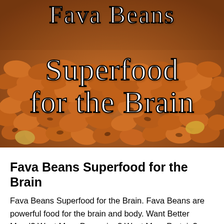[Figure (photo): Close-up photo of a large pile of reddish-brown fava beans filling the frame, with overlaid text 'Fava Beans Superfood for the Brain' in white serif font with black outline]
Fava Beans Superfood for the Brain
Fava Beans Superfood for the Brain. Fava Beans are powerful food for the brain and body. Want Better Mood? Want More Dopamine? Want More Protein? Want to Keep Away Cancer? Want to Lower Blood Sugar? Want More Probiotics? Want More Vitamins? Want Lower Blood